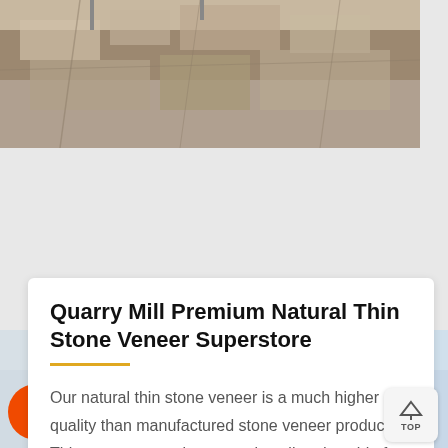[Figure (photo): Quarry stone blocks and rocky terrain viewed from above]
Quarry Mill Premium Natural Thin Stone Veneer Superstore
Our natural thin stone veneer is a much higher quality than manufactured stone veneer products. Thin stone veneer is easy to install and usable for interior or exterior designs. Unique. Real stone has its own unique characteristics with natural tones and hues. The vibrancy and life of natural stone
[Figure (photo): Customer service representative with headset and background machinery; orange chat bar overlay with Message and Online Chat buttons]